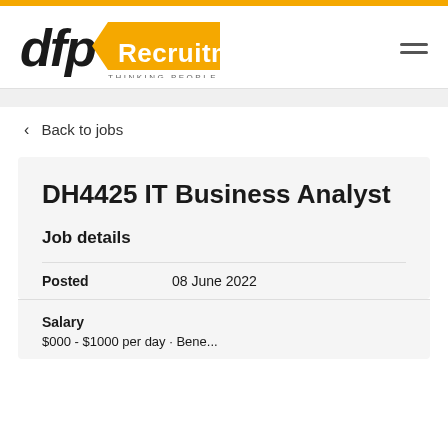[Figure (logo): DFP Recruitment logo with 'dfp' in italic black text and 'Recruitment' in white on a gold arrow-shaped badge. Tagline: THINKING PEOPLE]
< Back to jobs
DH4425 IT Business Analyst
Job details
Posted    08 June 2022
Salary